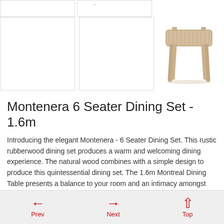[Figure (photo): Product thumbnail images grid — mostly blank white cells with borders, top portion of page]
[Figure (photo): Wooden stool/side table product photo — light natural rubberwood, simple four-legged design]
Montenera 6 Seater Dining Set - 1.6m
Introducing the elegant Montenera - 6 Seater Dining Set. This rustic rubberwood dining set produces a warm and welcoming dining experience. The natural wood combines with a simple design to produce this quintessential dining set. The 1.6m Montreal Dining Table presents a balance to your room and an intimacy amongst your guests.
Comfortably seats 6 diners along 1.6m frame
Prev  Next  Top